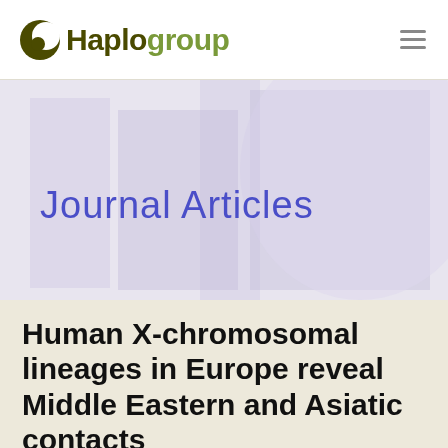Haplogroup
[Figure (illustration): Banner image with lavender/blue toned abstract background with silhouette figures, containing the text 'Journal Articles']
Human X-chromosomal lineages in Europe reveal Middle Eastern and Asiatic contacts